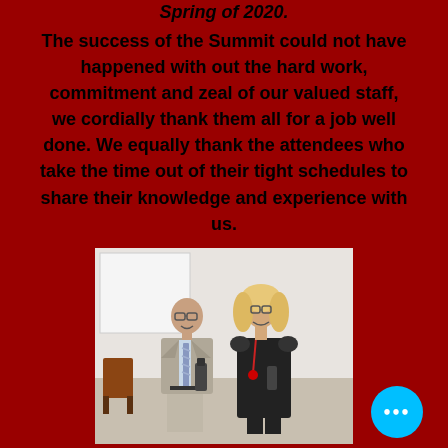Spring of 2020.
The success of the Summit could not have happened with out the hard work, commitment and zeal of our valued staff, we cordially thank them all for a job well done. We equally thank the attendees who take the time out of their tight schedules to share their knowledge and experience with us.
[Figure (photo): Two people posing together indoors — an older bald man in a grey suit with a striped tie on the left, and a blonde woman wearing glasses and a black dress with a medal/lanyard on the right. A projection screen is visible in the background.]